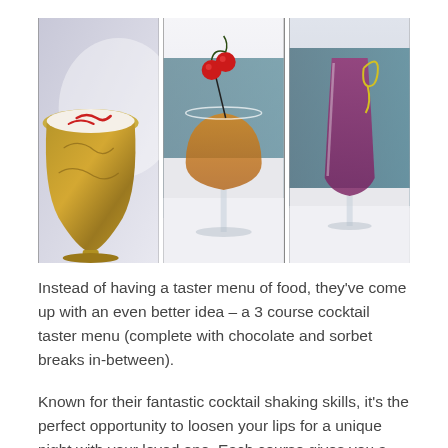[Figure (photo): Three cocktail photos side by side: left shows a golden/brass cup with cream and red swirl decoration; center shows a martini/coupe glass with red cherries on a cocktail pick; right shows a champagne flute with a purple/pink drink and yellow citrus peel garnish]
Instead of having a taster menu of food, they've come up with an even better idea – a 3 course cocktail taster menu (complete with chocolate and sorbet breaks in-between).
Known for their fantastic cocktail shaking skills, it's the perfect opportunity to loosen your lips for a unique night with your loved one. Each course gives you a choice of 2 cocktails, here's what's on offer: